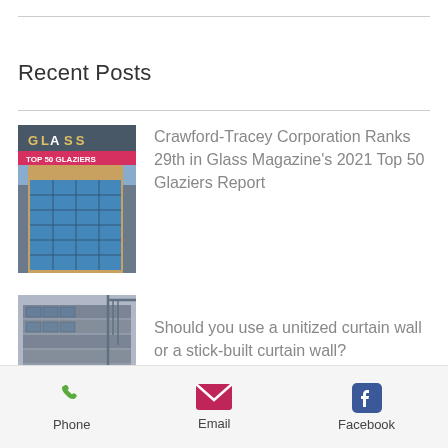Recent Posts
[Figure (photo): Thumbnail image of Glass Magazine Top 50 Glaziers report cover with building facade]
Crawford-Tracey Corporation Ranks 29th in Glass Magazine's 2021 Top 50 Glaziers Report
[Figure (photo): Thumbnail photo of building under construction with curtain wall installation]
Should you use a unitized curtain wall or a stick-built curtain wall?
Phone   Email   Facebook